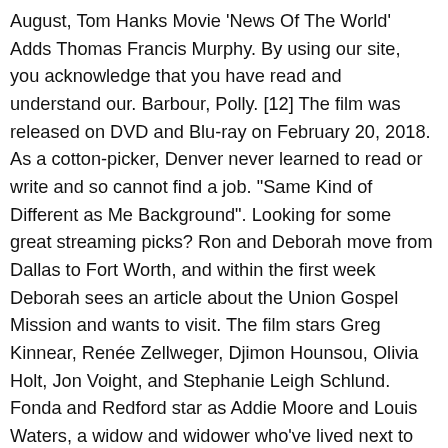August, Tom Hanks Movie 'News Of The World' Adds Thomas Francis Murphy. By using our site, you acknowledge that you have read and understand our. Barbour, Polly. [12] The film was released on DVD and Blu-ray on February 20, 2018. As a cotton-picker, Denver never learned to read or write and so cannot find a job. "Same Kind of Different as Me Background". Looking for some great streaming picks? Ron and Deborah move from Dallas to Fort Worth, and within the first week Deborah sees an article about the Union Gospel Mission and wants to visit. The film stars Greg Kinnear, Renée Zellweger, Djimon Hounsou, Olivia Holt, Jon Voight, and Stephanie Leigh Schlund. Fonda and Redford star as Addie Moore and Louis Waters, a widow and widower who've lived next to each other for years. Denver tells Ron to visit Earl. Denver recognizes that God is doing powerful things through Deborah, and warns Ron that the devil may cause something bad to happen to her soon. Deborah died. Same Kind of Different as Me is an autobiography about two unlikely